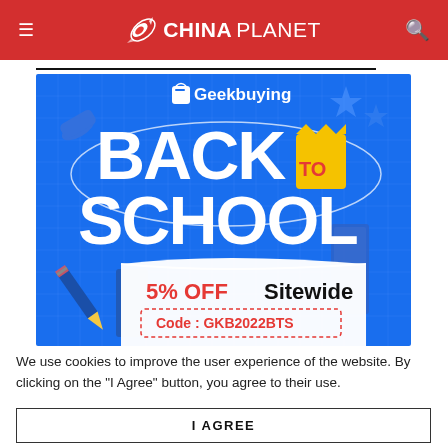≡  CHINAPLANET  🔍
[Figure (infographic): Geekbuying Back to School sale advertisement. Blue background with grid pattern. Text: 'Geekbuying BACK TO SCHOOL' with a yellow badge saying 'TO'. Below: '5% OFF Sitewide' in red and black, and 'Code: GKB2022BTS' in a dashed red border box. Decorative school items (pencils, stars, eraser) around the text.]
We use cookies to improve the user experience of the website. By clicking on the "I Agree" button, you agree to their use.
I AGREE